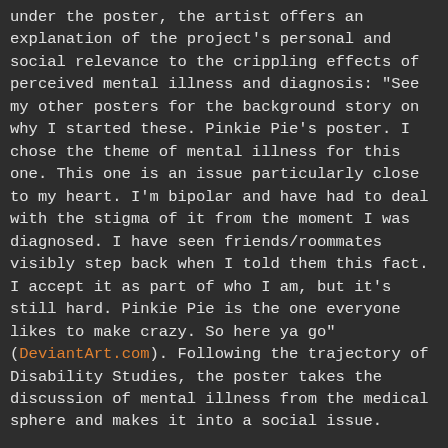under the poster, the artist offers an explanation of the project's personal and social relevance to the crippling effects of perceived mental illness and diagnosis: "See my other posters for the background story on why I started these. Pinkie Pie's poster. I chose the theme of mental illness for this one. This one is an issue particularly close to my heart. I'm bipolar and have had to deal with the stigma of it from the moment I was diagnosed. I have seen friends/roommates visibly step back when I told them this fact. I accept it as part of who I am, but it's still hard. Pinkie Pie is the one everyone likes to make crazy. So here ya go" (DeviantArt.com). Following the trajectory of Disability Studies, the poster takes the discussion of mental illness from the medical sphere and makes it into a social issue.
Immediately the MLP poster got backlash based